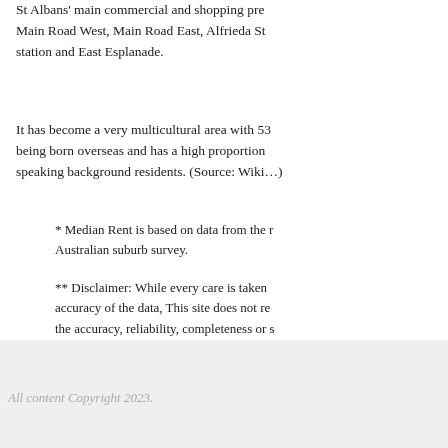St Albans' main commercial and shopping pre… Main Road West, Main Road East, Alfrieda St… station and East Esplanade.
It has become a very multicultural area with 53… being born overseas and has a high proportion… speaking background residents. (Source: Wiki…)
* Median Rent is based on data from the … Australian suburb survey.
** Disclaimer: While every care is taken … accuracy of the data, This site does not re… the accuracy, reliability, completeness or s… content for any particular purpose. Please… discover an error.
All content Copyright 2023.